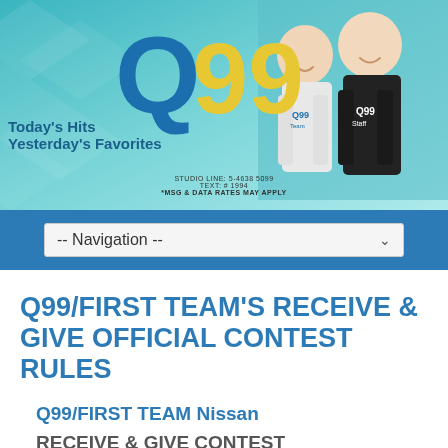[Figure (photo): Q99 radio station banner with logo showing large blue Q and yellow 99, tagline 'Today's Hits Yesterday's Favorites', studio line and text contact info, and photo of two smiling men (radio hosts) on teal/turquoise geometric background]
STUDIO LINE: 5-4638 5099
TEXT: # 1994
*MSG & DATA RATES MAY APPLY
-- Navigation --
Q99/FIRST TEAM'S RECEIVE & GIVE OFFICIAL CONTEST RULES
Q99/FIRST TEAM Nissan
RECEIVE & GIVE CONTEST
Official Contest Rules 2018